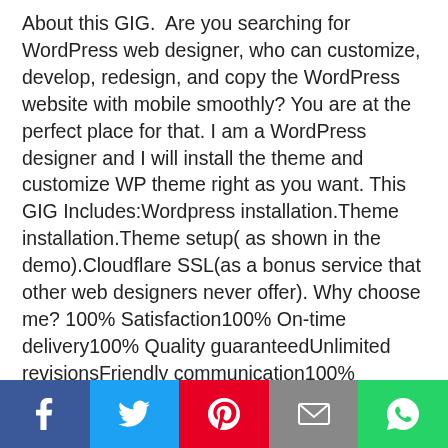About this GIG.  Are you searching for WordPress web designer, who can customize, develop, redesign, and copy the WordPress website with mobile smoothly? You are at the perfect place for that. I am a WordPress designer and I will install the theme and customize WP theme right as you want. This GIG Includes:Wordpress installation.Theme installation.Theme setup( as shown in the demo).Cloudflare SSL(as a bonus service that other web designers never offer). Why choose me? 100% Satisfaction100% On-time delivery100% Quality guaranteedUnlimited revisionsFriendly communication100% Refundable policy I know how to install and customize the theme from:ThemeforestElegantthemeA theme What you have which I demand from you;Wordpress theme file Hosting credentials Disclaimer
        Some times other web designers don't include images due to copyright issues which make the whole thing worse, a placeholder image makes a bad image of your website